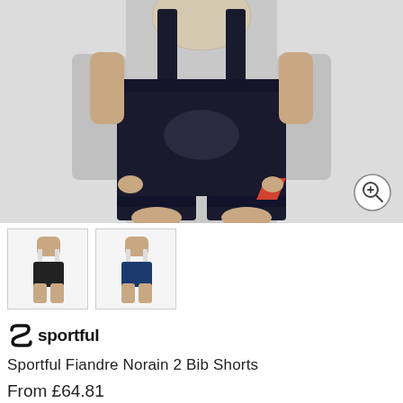[Figure (photo): Man wearing black Sportful Fiandre Norain 2 Bib Shorts with mesh bib straps and orange accent stripe on right leg, shown from torso down, cropped. Gray background. Zoom icon in bottom right corner.]
[Figure (photo): Thumbnail 1: Man wearing black bib shorts, full body front view on white background.]
[Figure (photo): Thumbnail 2: Man wearing navy/blue bib shorts, full body front view on white background.]
[Figure (logo): Sportful brand logo: stylized S icon and 'sportful' wordmark in black bold text.]
Sportful Fiandre Norain 2 Bib Shorts
From £64.81